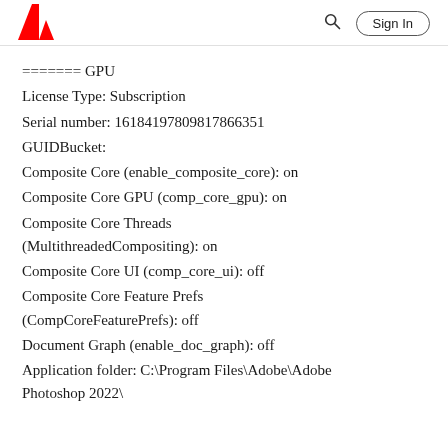Adobe logo | Search | Sign In
======= GPU
License Type: Subscription
Serial number: 16184197809817866351
GUIDBucket:
Composite Core (enable_composite_core): on
Composite Core GPU (comp_core_gpu): on
Composite Core Threads (MultithreadedCompositing): on
Composite Core UI (comp_core_ui): off
Composite Core Feature Prefs (CompCoreFeaturePrefs): off
Document Graph (enable_doc_graph): off
Application folder: C:\Program Files\Adobe\Adobe Photoshop 2022\